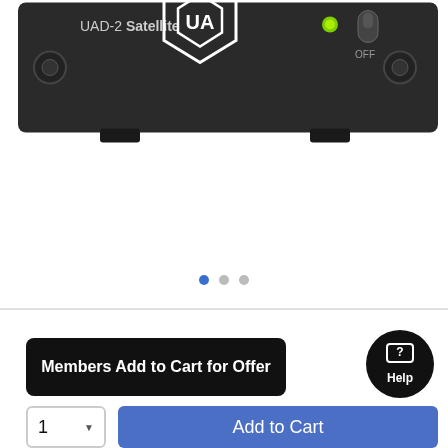[Figure (photo): Top/front panel of a UAD-2 Satellite audio device. Dark grey/black chassis with 'UAD-2 Satellite' label on left, Universal Audio diamond logo in center, green power LED indicator, a rotary toggle switch labeled OFF, and two circular mounting connectors on left and right edges.]
Members Add to Cart for Offer
Add to Cart